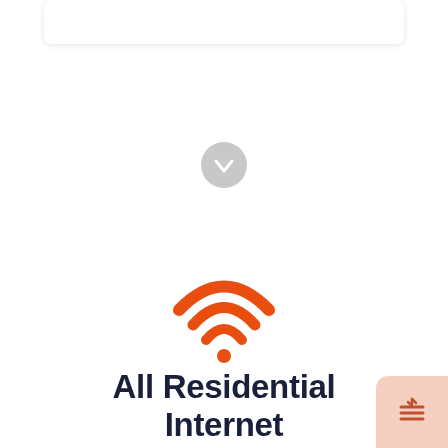[Figure (illustration): Gray circular scroll-down button with a downward arrow icon]
[Figure (illustration): Orange WiFi signal icon with three arcs and a dot]
All Residential Internet Providers in Roosevelt